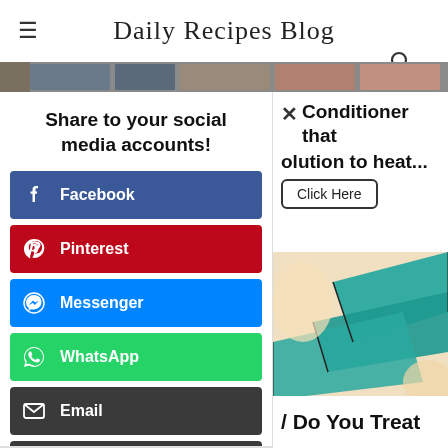Daily Recipes Blog
[Figure (photo): Partial header image strip showing food/people images]
Share to your social media accounts!
Facebook
Pinterest
Messenger
WhatsApp
Email
Print
× Conditioner that solution to heat...
Click Here
[Figure (illustration): Cartoon/illustrated image of a person with teal/blue diagonal graphic elements on a skin-tone background]
/ Do You Treat